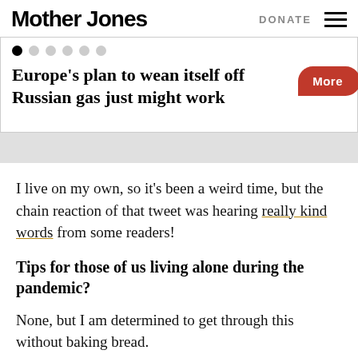Mother Jones | DONATE
Europe’s plan to wean itself off Russian gas just might work | More
I live on my own, so it’s been a weird time, but the chain reaction of that tweet was hearing really kind words from some readers!
Tips for those of us living alone during the pandemic?
None, but I am determined to get through this without baking bread.